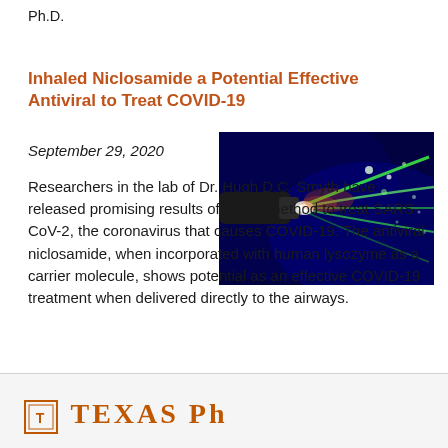Ph.D.
Inhaled Niclosamide a Potential Effective Antiviral to Treat COVID-19
September 29, 2020
[Figure (photo): Fluorescence microscopy image of an inhaler nozzle spraying particles against a dark blue background, showing green and white particle streams.]
Researchers in the lab of Dr. Hugh D.C. Smyth have released promising results of a new method to treat SARS-CoV-2, the coronavirus that causes COVID-19. The antiviral niclosamide, when incorporated with human lysozyme as a carrier molecule, shows potential as an effective COVID-19 treatment when delivered directly to the airways.
TEXAS Ph...